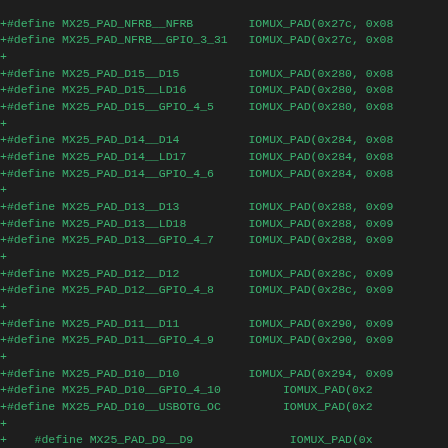+#define MX25_PAD_NFRB__NFRB        IOMUX_PAD(0x27c, 0x08
+#define MX25_PAD_NFRB__GPIO_3_31    IOMUX_PAD(0x27c, 0x08
+
+#define MX25_PAD_D15__D15           IOMUX_PAD(0x280, 0x08
+#define MX25_PAD_D15__LD16          IOMUX_PAD(0x280, 0x08
+#define MX25_PAD_D15__GPIO_4_5      IOMUX_PAD(0x280, 0x08
+
+#define MX25_PAD_D14__D14           IOMUX_PAD(0x284, 0x08
+#define MX25_PAD_D14__LD17          IOMUX_PAD(0x284, 0x08
+#define MX25_PAD_D14__GPIO_4_6      IOMUX_PAD(0x284, 0x08
+
+#define MX25_PAD_D13__D13           IOMUX_PAD(0x288, 0x09
+#define MX25_PAD_D13__LD18          IOMUX_PAD(0x288, 0x09
+#define MX25_PAD_D13__GPIO_4_7      IOMUX_PAD(0x288, 0x09
+
+#define MX25_PAD_D12__D12           IOMUX_PAD(0x28c, 0x09
+#define MX25_PAD_D12__GPIO_4_8      IOMUX_PAD(0x28c, 0x09
+
+#define MX25_PAD_D11__D11           IOMUX_PAD(0x290, 0x09
+#define MX25_PAD_D11__GPIO_4_9      IOMUX_PAD(0x290, 0x09
+
+#define MX25_PAD_D10__D10           IOMUX_PAD(0x294, 0x09
+#define MX25_PAD_D10__GPIO_4_10          IOMUX_PAD(0x2
+#define MX25_PAD_D10__USBOTG_OC          IOMUX_PAD(0x2
+
+#define MX25_PAD_D9__D9                  IOMUX_PAD(0x